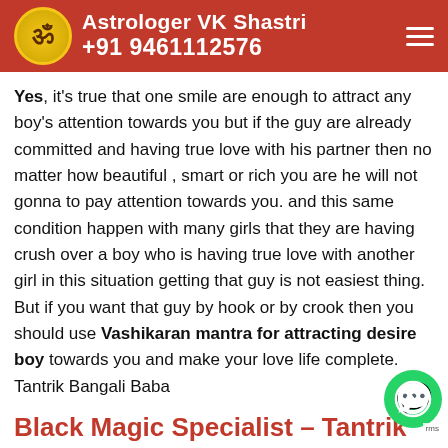Astrologer VK Shastri +91 9461112576
Yes, it's true that one smile are enough to attract any boy's attention towards you but if the guy are already committed and having true love with his partner then no matter how beautiful , smart or rich you are he will not gonna to pay attention towards you. and this same condition happen with many girls that they are having crush over a boy who is having true love with another girl in this situation getting that guy is not easiest thing. But if you want that guy by hook or by crook then you should use Vashikaran mantra for attracting desire boy towards you and make your love life complete. Tantrik Bangali Baba
Black Magic Specialist – Tantrik Bangali Baba